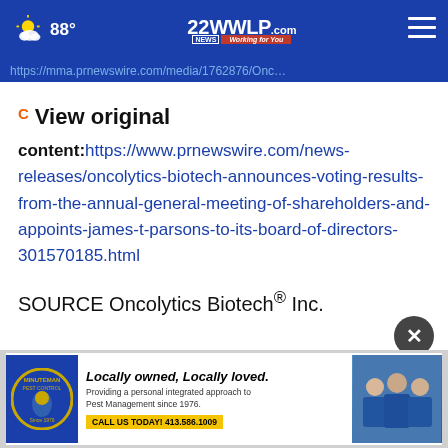22WWLP.com Working for You — 88°
https://mma.prnewswire.com/media/1762876/Onc
View original content:https://www.prnewswire.com/news-releases/oncolytics-biotech-announces-voting-results-from-the-annual-general-meeting-of-shareholders-and-appoints-james-t-parsons-to-its-board-of-directors-301570185.html
SOURCE Oncolytics Biotech® Inc.
[Figure (other): Minuteman Pest Control advertisement: Locally owned, Locally loved. Providing a personal integrated approach to Pest Management since 1976. CALL US TODAY! 413.586.1009]